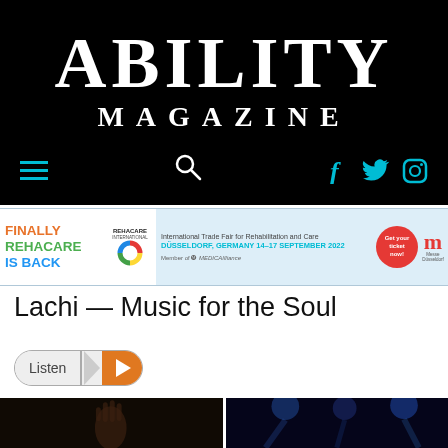ABILITY MAGAZINE
[Figure (screenshot): Navigation bar with hamburger menu, search icon, and social media icons (Facebook, Twitter, Instagram) in teal on black background]
[Figure (infographic): REHACARE advertisement banner: 'FINALLY REHACARE IS BACK' with REHACARE International logo, text 'International Trade Fair for Rehabilitation and Care, DÜSSELDORF, GERMANY 14–17 SEPTEMBER 2022', red circular 'Get your ticket now!' button, Member of MEDICAlliance, Messe Düsseldorf logo]
Lachi — Music for the Soul
[Figure (other): Listen button with play triangle icon in orange]
[Figure (photo): Two concert/performance photos side by side: left shows a hand raised against dark background, right shows a performer under blue stage lights]